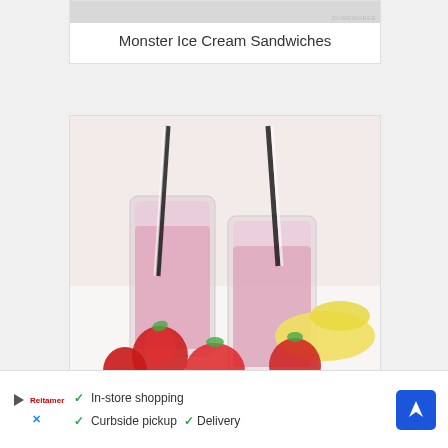[Figure (photo): Partial top of Monster Ice Cream Sandwiches card showing grey image area with watermark]
Monster Ice Cream Sandwiches
[Figure (photo): Photo of two mason jar glasses filled with pink strawberry banana smoothie, garnished with straws, surrounded by fresh strawberries and a banana]
Strawberry Banana Smoothie
[Figure (photo): Partial photo of cookie ice cream sandwiches with chocolate chips and cream filling on a white surface]
[Figure (screenshot): Ad banner showing play triangle icon, retailer logo, checkmarks for In-store shopping, Curbside pickup, Delivery, and a blue navigation arrow icon]